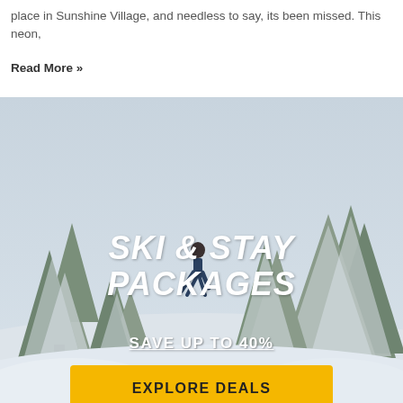place in Sunshine Village, and needless to say, its been missed. This neon,
Read More »
[Figure (photo): A skier in deep powder snow surrounded by snow-covered evergreen trees. Overlaid text reads 'SKI & STAY PACKAGES', 'SAVE UP TO 40%', 'EXPLORE DEALS' button, and 'SALE ENDS AUGUST 31'.]